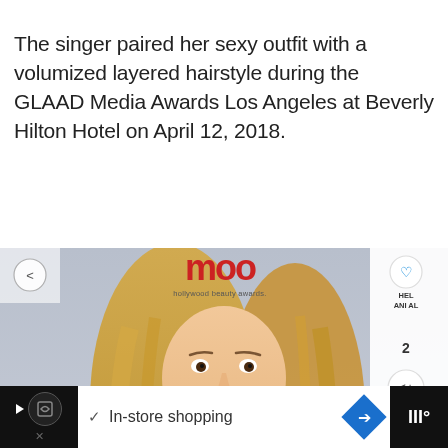The singer paired her sexy outfit with a volumized layered hairstyle during the GLAAD Media Awards Los Angeles at Beverly Hilton Hotel on April 12, 2018.
[Figure (photo): Photo of a blonde woman (Britney Spears) at the GLAAD Media Awards Los Angeles at Beverly Hilton Hotel. She is smiling and wearing a sparkly outfit. Backdrop shows event logos including 'hollywood beauty awards', 'LaDov', and 'KCRC'. UI overlays include a heart icon, share buttons, like count of 2, and a 'What's Next' thumbnail showing 'Julia Roberts Hairstyles...'.]
In-store shopping